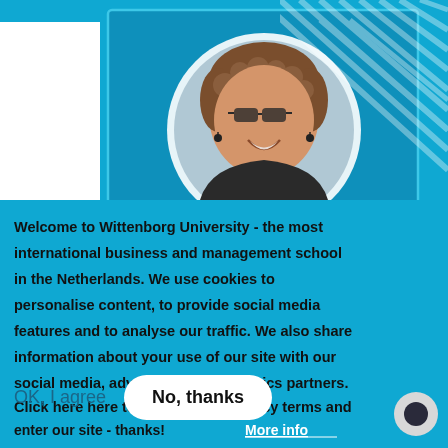[Figure (photo): Screenshot of Wittenborg University website with a cookie consent overlay. Top half shows a smiling woman with glasses and curly hair in a circular photo frame on a blue background. Bottom half shows a cookie consent message in bold dark text on a blue background with 'More info' link, 'OK, I agree' and 'No, thanks' buttons.]
Welcome to Wittenborg University - the most international business and management school in the Netherlands. We use cookies to personalise content, to provide social media features and to analyse our traffic. We also share information about your use of our site with our social media, advertising and analytics partners. Click here here to agree to our privacy terms and enter our site - thanks! More info
OK, I agree
No, thanks